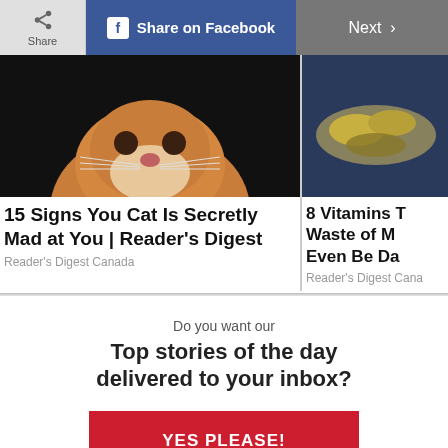[Figure (screenshot): Top navigation bar with Share button, Share on Facebook button (blue), and Next arrow button (dark gray)]
[Figure (photo): Close-up photo of an orange fluffy cat face on black background]
15 Signs You Cat Is Secretly Mad at You | Reader's Digest
Reader's Digest Canada
[Figure (photo): Partial photo of vitamins/supplements in a bowl on dark background]
8 Vitamins W... Waste of M... Even Be Da...
Reader's Digest Cana...
Do you want our
Top stories of the day delivered to your inbox?
YES PLEASE!
NO THANKS